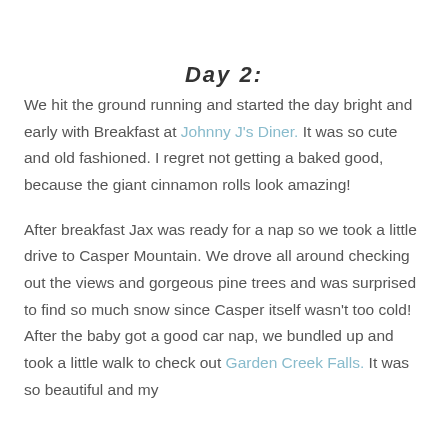Day 2:
We hit the ground running and started the day bright and early with Breakfast at Johnny J's Diner. It was so cute and old fashioned. I regret not getting a baked good, because the giant cinnamon rolls look amazing!
After breakfast Jax was ready for a nap so we took a little drive to Casper Mountain. We drove all around checking out the views and gorgeous pine trees and was surprised to find so much snow since Casper itself wasn't too cold! After the baby got a good car nap, we bundled up and took a little walk to check out Garden Creek Falls. It was so beautiful and my